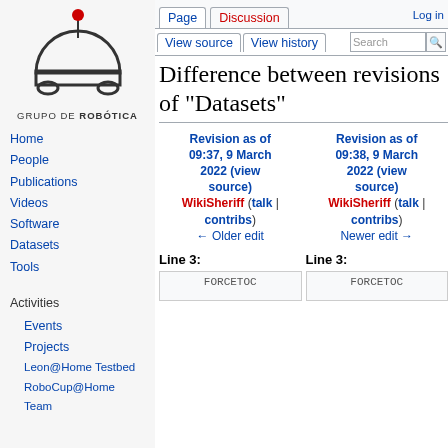[Figure (logo): Grupo de Robótica robot logo — semicircle body on wheels with antenna and red dot on top, text below reads GRUPO DE ROBÓTICA]
Home
People
Publications
Videos
Software
Datasets
Tools
Activities
Events
Projects
Leon@Home Testbed
RoboCup@Home Team
Log in | Page | Discussion | View source | View history | Search
Difference between revisions of "Datasets"
| Revision as of 09:37, 9 March 2022 (view source) | Revision as of 09:38, 9 March 2022 (view source) |
| --- | --- |
| WikiSheriff (talk | contribs) | WikiSheriff (talk | contribs) |
| ← Older edit | Newer edit → |
Line 3:    Line 3:
FORCETOC    FORCETOC